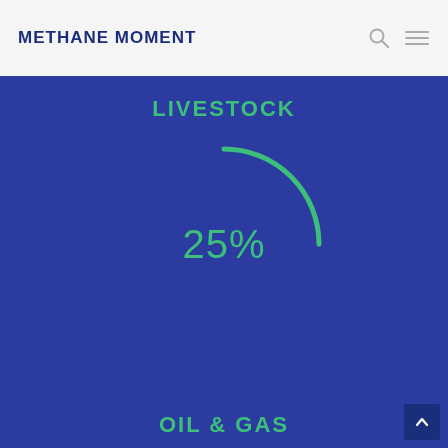METHANE MOMENT
LIVESTOCK
[Figure (donut-chart): Livestock methane contribution]
OIL & GAS